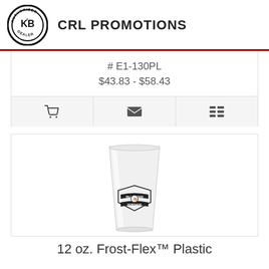CRL PROMOTIONS
# E1-130PL
$43.83 - $58.43
[Figure (photo): Frosted plastic cup with a logo printed on it (Willow Bend Mortgage), shown on a white background.]
12 oz. Frost-Flex™ Plastic